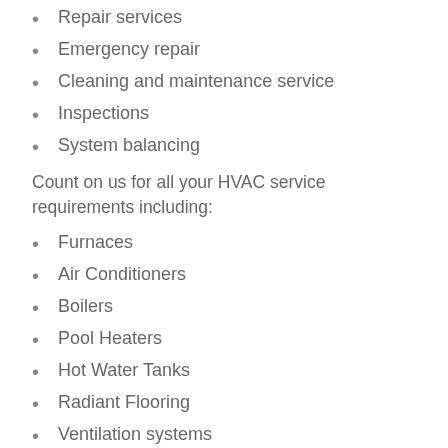Repair services
Emergency repair
Cleaning and maintenance service
Inspections
System balancing
Count on us for all your HVAC service requirements including:
Furnaces
Air Conditioners
Boilers
Pool Heaters
Hot Water Tanks
Radiant Flooring
Ventilation systems
Humidifiers and Air Purifiers
Contact us today to book an appointment: 613-